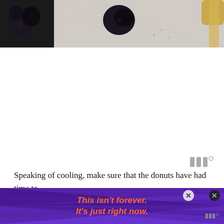[Figure (photo): Top portion of a food photography image showing dark blueberries in a white bowl on a light marble/stone surface, with a partial gold utensil visible at top right.]
[Figure (logo): Watermark logo with three vertical bar shapes and a degree symbol, in gray color.]
Speaking of cooling, make sure that the donuts have had time to cool before putting the glaze on it. Make the glaze in a bowl...
[Figure (infographic): Advertisement banner with purple background, radiating dark stripe pattern, orange bold text reading 'This isn’t forever. It’s just right now.' with close buttons on the right side.]